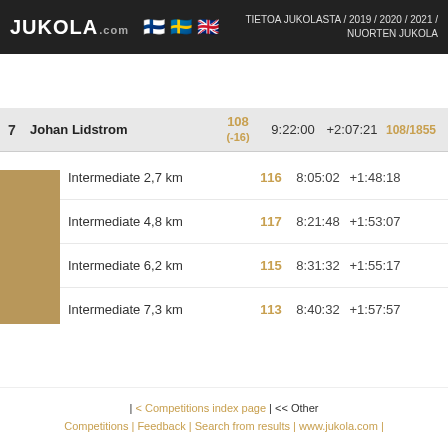JUKOLA.com | Finnish flag | Swedish flag | UK flag | TIETOA JUKOLASTA / 2019 / 2020 / 2021 / NUORTEN JUKOLA
| # | Name | Rank | Time | Diff | Split |
| --- | --- | --- | --- | --- | --- |
| 7 | Johan Lidstrom | 108 (-16) | 9:22:00 | +2:07:21 | 108/1855 |
|  | Intermediate 2,7 km | 116 | 8:05:02 | +1:48:18 |  |
|  | Intermediate 4,8 km | 117 | 8:21:48 | +1:53:07 |  |
|  | Intermediate 6,2 km | 115 | 8:31:32 | +1:55:17 |  |
|  | Intermediate 7,3 km | 113 | 8:40:32 | +1:57:57 |  |
|  | Intermediate 8,8 km | 109 | 8:52:31 | +2:00:25 | 1: |
|  | Intermediate 9,9 km | 109 | 9:01:52 | +2:03:34 | 1: |
|  | Intermediate 11,6 km | 108 | 9:13:43 | +2:05:47 | 1: |
|  | Intermediate 12,6 km | 108 | 9:21:19 | +2:07:20 | 1: |
| < Competitions index page | << Other Competitions | Feedback | Search from results | www.jukola.com |